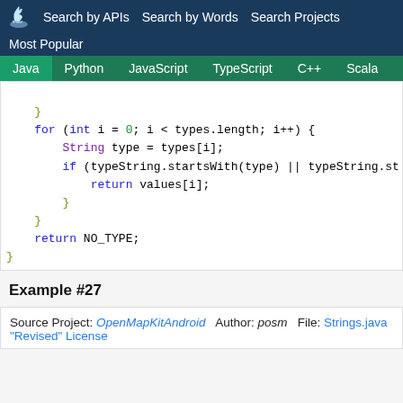Search by APIs  Search by Words  Search Projects
Most Popular
Java  Python  JavaScript  TypeScript  C++  Scala
}
    for (int i = 0; i < types.length; i++) {
        String type = types[i];
        if (typeString.startsWith(type) || typeString.st
            return values[i];
        }
    }
    return NO_TYPE;
}
Example #27
Source Project: OpenMapKitAndroid  Author: posm  File: Strings.java
"Revised" License